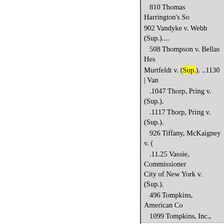810 Thomas Harrington's So
902 Vandyke v. Webb (Sup.)....
508 Thompson v. Bellas Hes
Murtfeldt v. (Sup.). ..1130 | Van
.1047 Thorp, Pring v. (Sup.).
.1117 Thorp, Pring v. (Sup.).
926 Tiffany, McKaigney v. (
.11.25 Vassie, Commissioner City of New York v. (Sup.).
496 Tompkins, American Co
1099 Tompkins, Inc., Nelson Hollender (Sup.). .1146 Bearin
..1117 Tighe v. Walters (Sup.
.1146 Village of East Roches
981 | Village of Fredonia v. B (Sup.)....
...1117 Timen v. James A. M (Sup.)..1077